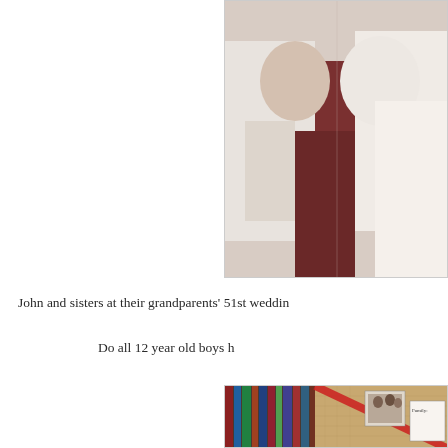[Figure (photo): Partial photo showing people dressed in formal clothing, appears to be a wedding or formal event, cropped at the top and right edges]
John and sisters at their grandparents' 51st weddin
Do all 12 year old boys h
[Figure (photo): A bulletin board covered in burlap/cork material with photos pinned to it, red ribbon decoration, books on a shelf in the background, and a small sign reading 'Family: Where life begins and love never ends']